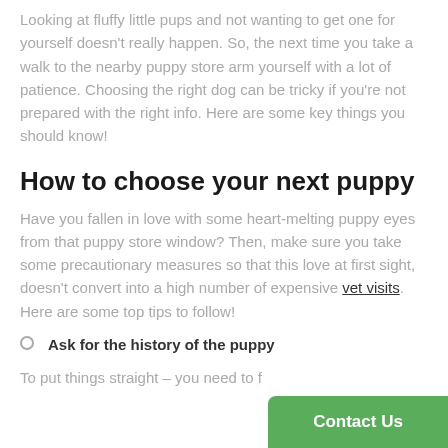Looking at fluffy little pups and not wanting to get one for yourself doesn't really happen. So, the next time you take a walk to the nearby puppy store arm yourself with a lot of patience. Choosing the right dog can be tricky if you're not prepared with the right info. Here are some key things you should know!
How to choose your next puppy
Have you fallen in love with some heart-melting puppy eyes from that puppy store window? Then, make sure you take some precautionary measures so that this love at first sight, doesn't convert into a high number of expensive vet visits. Here are some top tips to follow!
Ask for the history of the puppy
To put things straight – you need to f...